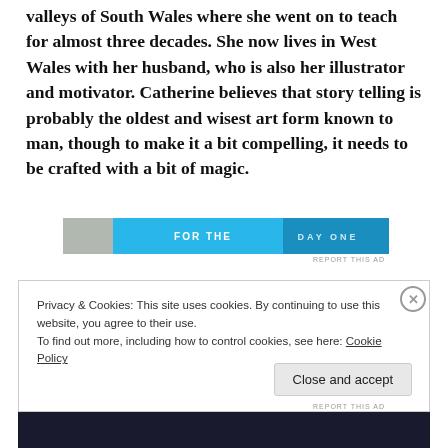valleys of South Wales where she went on to teach for almost three decades. She now lives in West Wales with her husband, who is also her illustrator and motivator. Catherine believes that story telling is probably the oldest and wisest art form known to man, though to make it a bit compelling, it needs to be crafted with a bit of magic.
[Figure (other): Advertisement banner with blue gradient background, showing partial text 'FOR THE' and 'DAY ONE' logo on right side]
Privacy & Cookies: This site uses cookies. By continuing to use this website, you agree to their use.
To find out more, including how to control cookies, see here: Cookie Policy
Close and accept